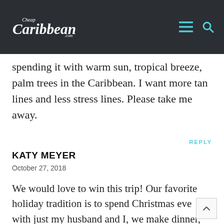Cheap Caribbean .com
spending it with warm sun, tropical breeze, palm trees in the Caribbean. I want more tan lines and less stress lines. Please take me away.
REPLY
KATY MEYER
October 27, 2018
We would love to win this trip! Our favorite holiday tradition is to spend Christmas eve with just my husband and I, we make dinner, have some cocktails,